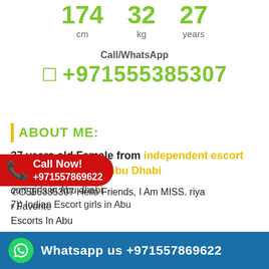174 cm  32 kg  27 years
Call/WhatsApp
+971555385307
ABOUT ME:
27 years old Female from independent escort girls in Abu dhabi, Abu Dhabi
cort girls in Abu dhabi
7)) Indian Escort girls in Abu
Call Now!
+971557869622
☎O555385307 Hello Friends, I Am MISS. riya
r Favorite
Escorts In Abu
dhabi High Profile Premium Indian Call Girls In
Whatsapp us +971557869622